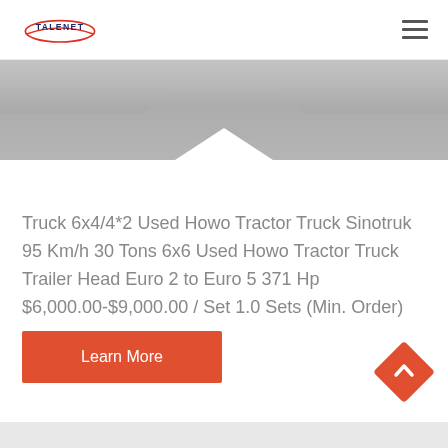TALENET
[Figure (photo): Partial view of a truck or vehicle in grey/silver tones, cropped with a chevron-shaped bottom edge]
Truck 6x4/4*2 Used Howo Tractor Truck Sinotruk 95 Km/h 30 Tons 6x6 Used Howo Tractor Truck Trailer Head Euro 2 to Euro 5 371 Hp $6,000.00-$9,000.00 / Set 1.0 Sets (Min. Order)
Learn More